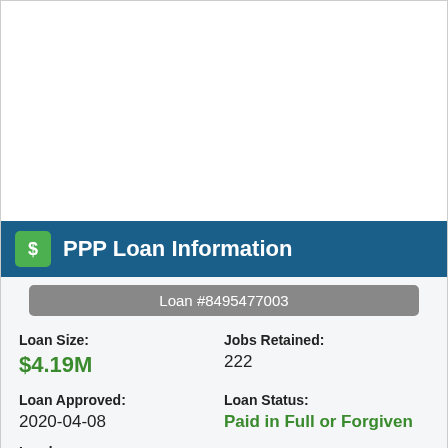PPP Loan Information
Loan #8495477003
| Field | Value |
| --- | --- |
| Loan Size: | $4.19M |
| Jobs Retained: | 222 |
| Loan Approved: | 2020-04-08 |
| Loan Status: | Paid in Full or Forgiven |
Lender: